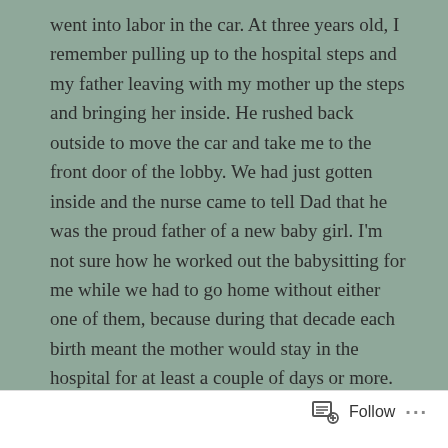went into labor in the car. At three years old, I remember pulling up to the hospital steps and my father leaving with my mother up the steps and bringing her inside. He rushed back outside to move the car and take me to the front door of the lobby. We had just gotten inside and the nurse came to tell Dad that he was the proud father of a new baby girl. I'm not sure how he worked out the babysitting for me while we had to go home without either one of them, because during that decade each birth meant the mother would stay in the hospital for at least a couple of days or more. My sister's birth was actually on Mother's Day that year, May 13th. I had to make some major adjustments to coexist with this new person in the house. I recall she was never to be subjected to any discomfort due to my actions or
Follow ...